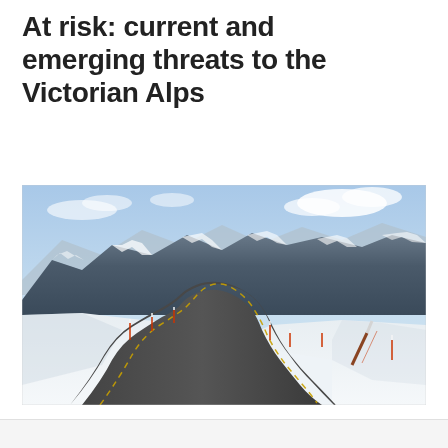At risk: current and emerging threats to the Victorian Alps
[Figure (photo): Aerial photograph of a winding mountain road through a snow-covered alpine landscape in the Victorian Alps, with snow-capped mountain ranges visible in the background against a partly cloudy sky. Road has yellow center lines and is flanked by snow poles.]